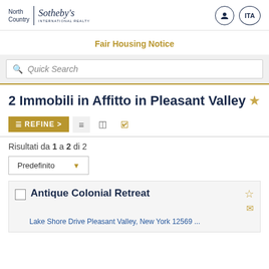North Country | Sotheby's INTERNATIONAL REALTY
Fair Housing Notice
Quick Search
2 Immobili in Affitto in Pleasant Valley
Risultati da 1 a 2 di 2
Predefinito
Antique Colonial Retreat
Lake Shore Drive Pleasant Valley, New York 12569 ...